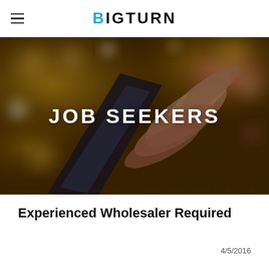BIGTURN
[Figure (photo): Blurred bokeh background with a hand holding a smartphone, warm golden and pink tones, with the text JOB SEEKERS overlaid in white bold capital letters]
Experienced Wholesaler Required
4/5/2016